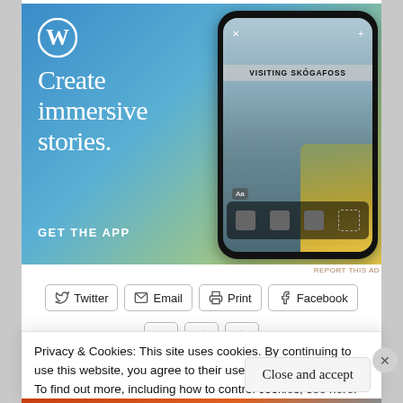[Figure (advertisement): WordPress.com app advertisement with blue-to-yellow gradient background. WordPress circular logo top-left. Large white serif text reads 'Create immersive stories.' Bold white sans-serif text 'GET THE APP'. Right side shows a phone mockup displaying a story with 'VISITING SKÓGAFOSS' banner overlay and a person in a yellow jacket near a waterfall.]
REPORT THIS AD
Twitter   Email   Print   Facebook
Privacy & Cookies: This site uses cookies. By continuing to use this website, you agree to their use.
To find out more, including how to control cookies, see here:
Cookie Policy
Close and accept